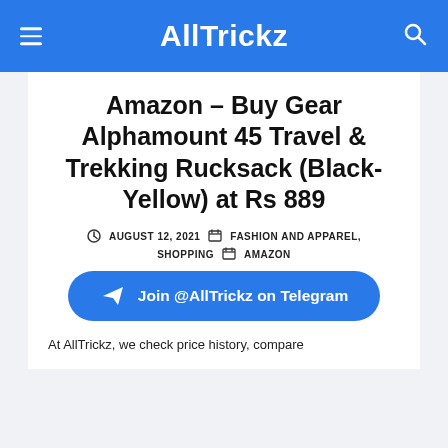AllTrickz
Amazon – Buy Gear Alphamount 45 Travel & Trekking Rucksack (Black-Yellow) at Rs 889
AUGUST 12, 2021  FASHION AND APPAREL, SHOPPING  AMAZON
[Figure (other): Join @AllTrickz on Telegram button]
At AllTrickz, we check price history, compare